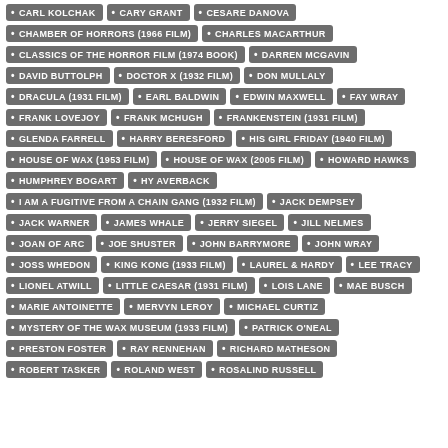CARL KOLCHAK
CARY GRANT
CESARE DANOVA
CHAMBER OF HORRORS (1966 FILM)
CHARLES MACARTHUR
CLASSICS OF THE HORROR FILM (1974 BOOK)
DARREN MCGAVIN
DAVID BUTTOLPH
DOCTOR X (1932 FILM)
DON MULLALY
DRACULA (1931 FILM)
EARL BALDWIN
EDWIN MAXWELL
FAY WRAY
FRANK LOVEJOY
FRANK MCHUGH
FRANKENSTEIN (1931 FILM)
GLENDA FARRELL
HARRY BERESFORD
HIS GIRL FRIDAY (1940 FILM)
HOUSE OF WAX (1953 FILM)
HOUSE OF WAX (2005 FILM)
HOWARD HAWKS
HUMPHREY BOGART
HY AVERBACK
I AM A FUGITIVE FROM A CHAIN GANG (1932 FILM)
JACK DEMPSEY
JACK WARNER
JAMES WHALE
JERRY SIEGEL
JILL NELMES
JOAN OF ARC
JOE SHUSTER
JOHN BARRYMORE
JOHN WRAY
JOSS WHEDON
KING KONG (1933 FILM)
LAUREL & HARDY
LEE TRACY
LIONEL ATWILL
LITTLE CAESAR (1931 FILM)
LOIS LANE
MAE BUSCH
MARIE ANTOINETTE
MERVYN LEROY
MICHAEL CURTIZ
MYSTERY OF THE WAX MUSEUM (1933 FILM)
PATRICK O'NEAL
PRESTON FOSTER
RAY RENNEHAN
RICHARD MATHESON
ROBERT TASKER
ROLAND WEST
ROSALIND RUSSELL